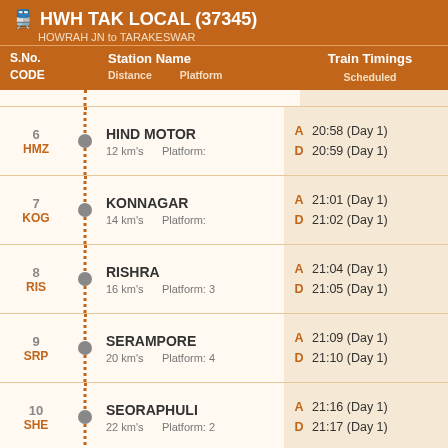HWH TAK LOCAL (37345) - HOWRAH JN to TARAKESWAR
| S.No. CODE | Station Name / Distance / Platform | Train Timings Scheduled |
| --- | --- | --- |
| 6 HMZ | HIND MOTOR / 12 km's / Platform: | A 20:58 (Day 1) / D 20:59 (Day 1) |
| 7 KOG | KONNAGAR / 14 km's / Platform: | A 21:01 (Day 1) / D 21:02 (Day 1) |
| 8 RIS | RISHRA / 16 km's / Platform: 3 | A 21:04 (Day 1) / D 21:05 (Day 1) |
| 9 SRP | SERAMPORE / 20 km's / Platform: 4 | A 21:09 (Day 1) / D 21:10 (Day 1) |
| 10 SHE | SEORAPHULI / 22 km's / Platform: 2 | A 21:16 (Day 1) / D 21:17 (Day 1) |
| 11 DEA | DIARA / 28 km's / Platform: | A 21:23 (Day 1) / D 21:24 (Day 1) |